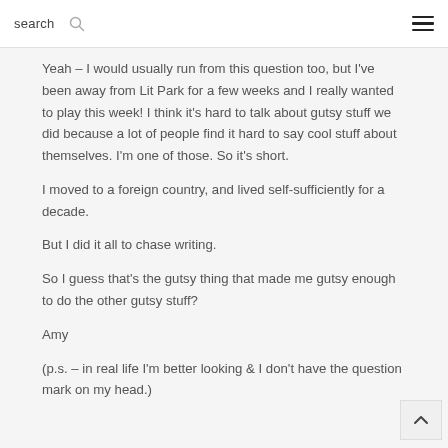search
Yeah – I would usually run from this question too, but I've been away from Lit Park for a few weeks and I really wanted to play this week! I think it's hard to talk about gutsy stuff we did because a lot of people find it hard to say cool stuff about themselves. I'm one of those. So it's short.
I moved to a foreign country, and lived self-sufficiently for a decade.
But I did it all to chase writing.
So I guess that's the gutsy thing that made me gutsy enough to do the other gutsy stuff?
Amy
(p.s. – in real life I'm better looking & I don't have the question mark on my head.)